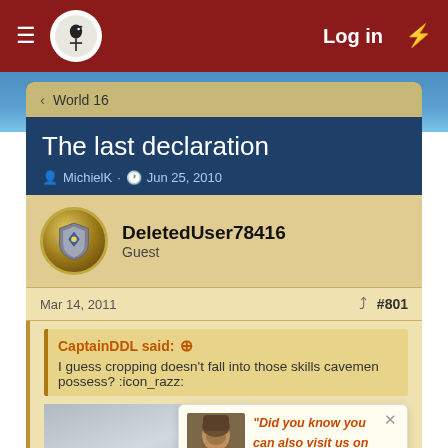Log in
The last declaration
MichielK · Jun 25, 2010
DeletedUser78416
Guest
Mar 14, 2011  #801
CaptainDDL said: ⊕
I guess cropping doesn't fall into those skills cavemen possess? :icon_razz:
"Did you know you can also visit us on our Discord chat? Come and meet us!
Killing Ende's Nobles
So easy a caveman can do it: